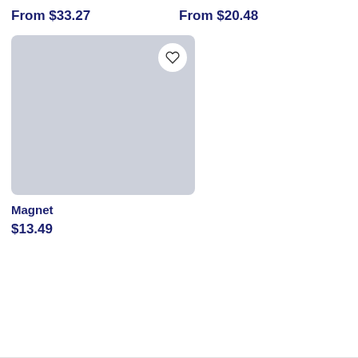From $33.27
From $20.48
[Figure (photo): Gray placeholder product image box with a circular heart/favorite button in top right corner]
Magnet
$13.49